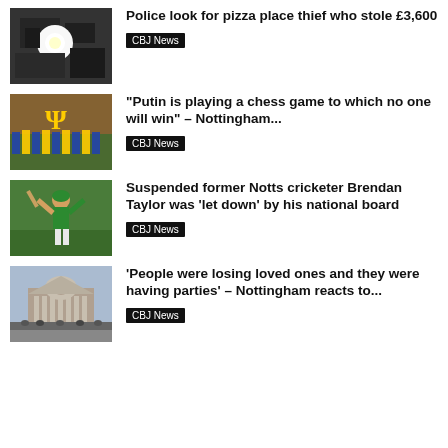[Figure (photo): Grayscale CCTV-style image of a bright flash/explosion indoors]
Police look for pizza place thief who stole £3,600
CBJ News
[Figure (photo): Group of people holding Ukrainian flags with a golden trident symbol]
“Putin is playing a chess game to which no one will win” – Nottingham...
CBJ News
[Figure (photo): Cricket player in green uniform raising bat and helmet in celebration]
Suspended former Notts cricketer Brendan Taylor was ‘let down’ by his national board
CBJ News
[Figure (photo): Nottingham Council House building with a crowd in the square]
‘People were losing loved ones and they were having parties’ – Nottingham reacts to...
CBJ News